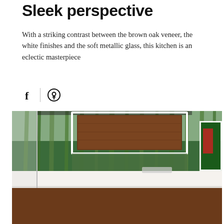Sleek perspective
With a striking contrast between the brown oak veneer, the white finishes and the soft metallic glass, this kitchen is an eclectic masterpiece
[Figure (other): Social sharing icons: Facebook (f) and Pinterest logo]
[Figure (photo): Modern kitchen with brown oak veneer cabinet fronts, white countertops, and a bamboo forest wallpaper or glass backdrop. A white island is in the foreground with a sink visible. A framed green artwork is visible on the right wall.]